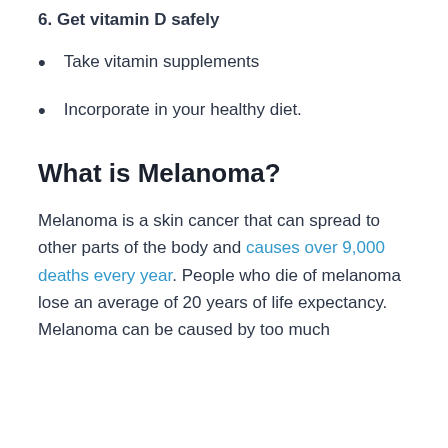6. Get vitamin D safely
Take vitamin supplements
Incorporate in your healthy diet.
What is Melanoma?
Melanoma is a skin cancer that can spread to other parts of the body and causes over 9,000 deaths every year. People who die of melanoma lose an average of 20 years of life expectancy. Melanoma can be caused by too much